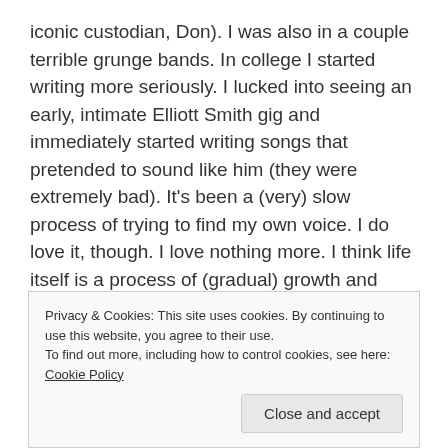iconic custodian, Don). I was also in a couple terrible grunge bands. In college I started writing more seriously. I lucked into seeing an early, intimate Elliott Smith gig and immediately started writing songs that pretended to sound like him (they were extremely bad). It’s been a (very) slow process of trying to find my own voice. I do love it, though. I love nothing more. I think life itself is a process of (gradual) growth and change, shedding skins and moving forward; my “artistic” aspirations have followed suit.
Wh...
Privacy & Cookies: This site uses cookies. By continuing to use this website, you agree to their use.
To find out more, including how to control cookies, see here: Cookie Policy
Close and accept